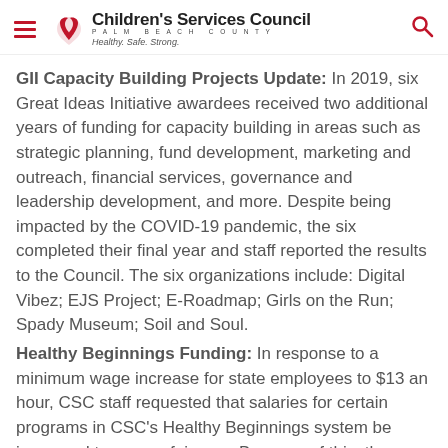Children's Services Council — Palm Beach County — Healthy. Safe. Strong.
GII Capacity Building Projects Update: In 2019, six Great Ideas Initiative awardees received two additional years of funding for capacity building in areas such as strategic planning, fund development, marketing and outreach, financial services, governance and leadership development, and more. Despite being impacted by the COVID-19 pandemic, the six completed their final year and staff reported the results to the Council. The six organizations include: Digital Vibez; EJS Project; E-Roadmap; Girls on the Run; Spady Museum; Soil and Soul.
Healthy Beginnings Funding: In response to a minimum wage increase for state employees to $13 an hour, CSC staff requested that salaries for certain programs in CSC's Healthy Beginnings system be increased to ensure fairness. Because of this, the Council approved salary increases for eight CSC-funded positions in three